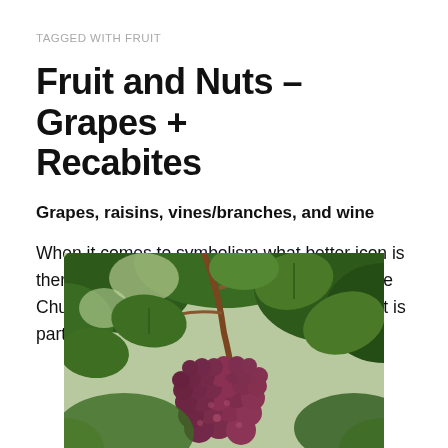TAGGED WITH FRUIT
Fruit and Nuts – Grapes + Recabites
Grapes, raisins, vines/branches, and wine
When it comes to symbolism what better icon is there than the grape plant for representing the Church of Jesus? Jesus used it in parables, it is part of our communion and it is
[Figure (photo): A photograph of a bunch of red/purple grapes hanging from a grapevine with green leaves in the background]